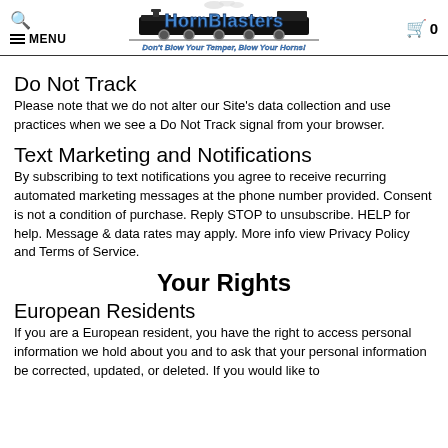HornBlasters — Don't Blow Your Temper, Blow Your Horns!
Do Not Track
Please note that we do not alter our Site's data collection and use practices when we see a Do Not Track signal from your browser.
Text Marketing and Notifications
By subscribing to text notifications you agree to receive recurring automated marketing messages at the phone number provided. Consent is not a condition of purchase. Reply STOP to unsubscribe. HELP for help. Message & data rates may apply. More info view Privacy Policy and Terms of Service.
Your Rights
European Residents
If you are a European resident, you have the right to access personal information we hold about you and to ask that your personal information be corrected, updated, or deleted. If you would like to